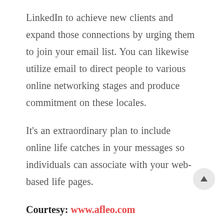LinkedIn to achieve new clients and expand those connections by urging them to join your email list. You can likewise utilize email to direct people to various online networking stages and produce commitment on these locales.
It's an extraordinary plan to include online life catches in your messages so individuals can associate with your web-based life pages.
Courtesy: www.afleo.com
Afleo.com is a leading website when it comes to company registrations, Trademark registrations, Import Export Code Registrations, etc. Our mission is to save the time of our clients by taking care of all the legal